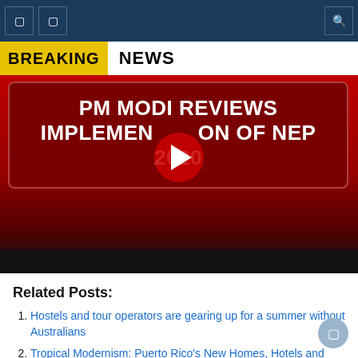[Figure (screenshot): Breaking news video thumbnail showing 'PM MODI REVIEWS IMPLEMENTATION OF NEP 2020' with a YouTube play button overlay. Top bar has 'BREAKING' in yellow on red and 'NEWS' in black on white. Main text is on a dark red panel.]
Related Posts:
Hostels and tour operators are gearing up for a summer without Australians
Tropical Modernism: Puerto Rico's New Homes, Hotels and Inns